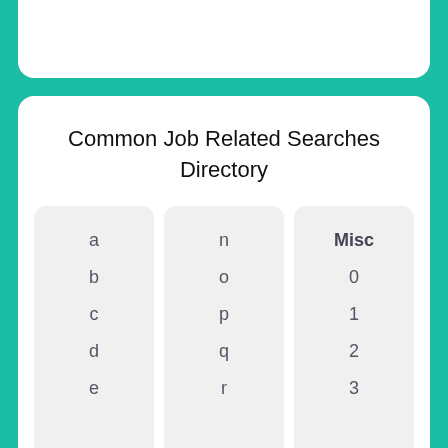Common Job Related Searches Directory
a
b
c
d
e
n
o
p
q
r
Misc
0
1
2
3